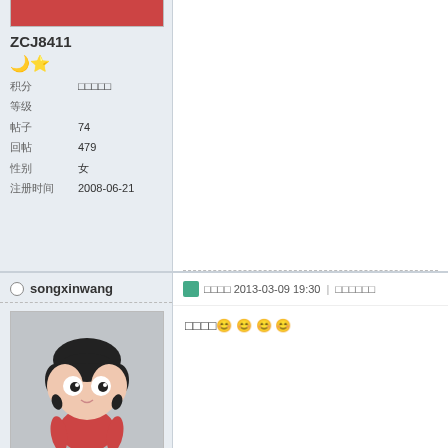[Figure (photo): Partial view of a user avatar image at top of profile sidebar (cropped, showing bottom portion in red)]
ZCJ8411
🌙⭐
| 积分 | □□□□□ |
| 等级 |  |
| 帖子 | 74 |
| 回帖 | 479 |
| 性别 | 女 |
| 注册时间 | 2008-06-21 |
○ songxinwang
[Figure (photo): Cartoon avatar of a girl with black hair, white eyes, wearing a red top, on grey background]
songxinwang
□□□□ 2013-03-09 19:30  |  □□□□□□
□□□□😊😊😊😊